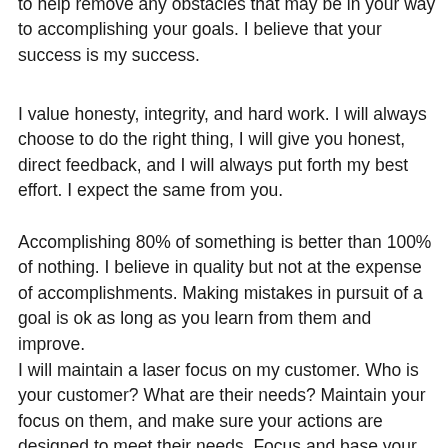to help remove any obstacles that may be in your way to accomplishing your goals. I believe that your success is my success.
I value honesty, integrity, and hard work. I will always choose to do the right thing, I will give you honest, direct feedback, and I will always put forth my best effort. I expect the same from you.
Accomplishing 80% of something is better than 100% of nothing. I believe in quality but not at the expense of accomplishments. Making mistakes in pursuit of a goal is ok as long as you learn from them and improve.
I will maintain a laser focus on my customer. Who is your customer? What are their needs? Maintain your focus on them, and make sure your actions are designed to meet their needs. Focus and base your decisions on them, and